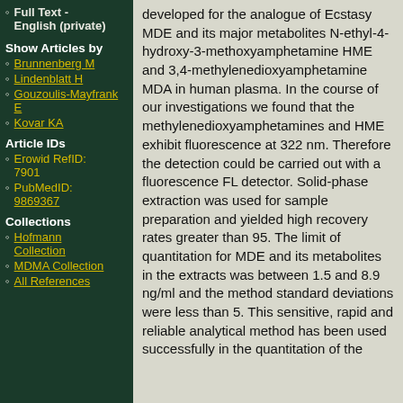Full Text - English (private)
Show Articles by
Brunnenberg M
Lindenblatt H
Gouzoulis-Mayfrank E
Kovar KA
Article IDs
Erowid RefID: 7901
PubMedID: 9869367
Collections
Hofmann Collection
MDMA Collection
All References
developed for the analogue of Ecstasy MDE and its major metabolites N-ethyl-4-hydroxy-3-methoxyamphetamine HME and 3,4-methylenedioxyamphetamine MDA in human plasma. In the course of our investigations we found that the methylenedioxyamphetamines and HME exhibit fluorescence at 322 nm. Therefore the detection could be carried out with a fluorescence FL detector. Solid-phase extraction was used for sample preparation and yielded high recovery rates greater than 95. The limit of quantitation for MDE and its metabolites in the extracts was between 1.5 and 8.9 ng/ml and the method standard deviations were less than 5. This sensitive, rapid and reliable analytical method has been used successfully in the quantitation of the